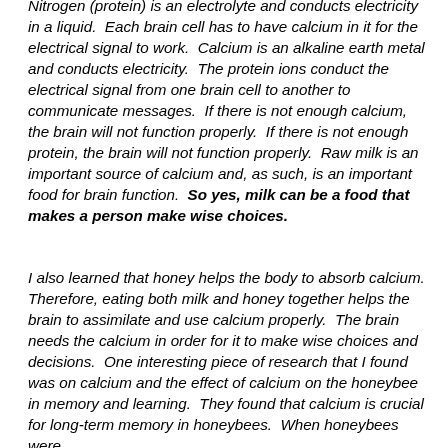Nitrogen (protein) is an electrolyte and conducts electricity in a liquid. Each brain cell has to have calcium in it for the electrical signal to work. Calcium is an alkaline earth metal and conducts electricity. The protein ions conduct the electrical signal from one brain cell to another to communicate messages. If there is not enough calcium, the brain will not function properly. If there is not enough protein, the brain will not function properly. Raw milk is an important source of calcium and, as such, is an important food for brain function. So yes, milk can be a food that makes a person make wise choices.
I also learned that honey helps the body to absorb calcium. Therefore, eating both milk and honey together helps the brain to assimilate and use calcium properly. The brain needs the calcium in order for it to make wise choices and decisions. One interesting piece of research that I found was on calcium and the effect of calcium on the honeybee in memory and learning. They found that calcium is crucial for long-term memory in honeybees. When honeybees were